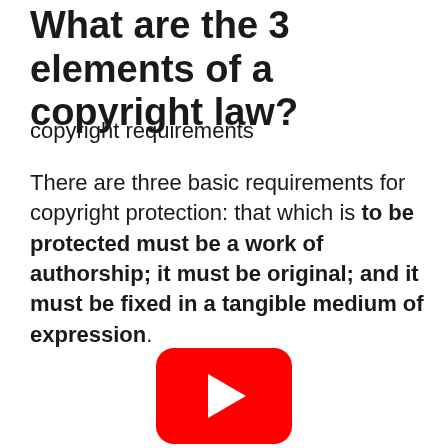What are the 3 elements of a copyright law?
copyright requirements
There are three basic requirements for copyright protection: that which is to be protected must be a work of authorship; it must be original; and it must be fixed in a tangible medium of expression.
[Figure (other): YouTube play button icon — red rounded rectangle with white triangle play arrow]